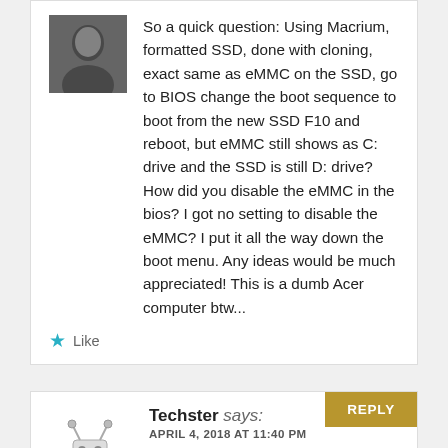So a quick question: Using Macrium, formatted SSD, done with cloning, exact same as eMMC on the SSD, go to BIOS change the boot sequence to boot from the new SSD F10 and reboot, but eMMC still shows as C: drive and the SSD is still D: drive? How did you disable the eMMC in the bios? I got no setting to disable the eMMC? I put it all the way down the boot menu. Any ideas would be much appreciated! This is a dumb Acer computer btw...
Like
Techster says:
APRIL 4, 2018 AT 11:40 PM
The NUC has a BIOS option to disable the eMMC, so it's pretty easy. If you don't have a disable option, I would think setting the boot order would be enough. Are you able to go to